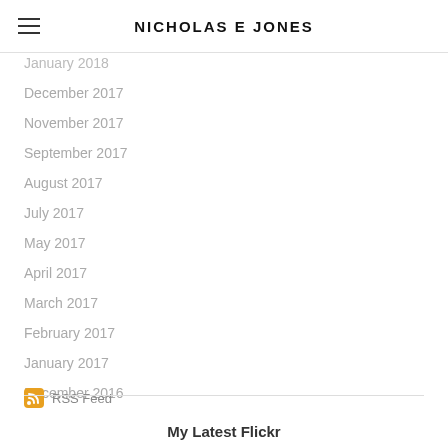NICHOLAS E JONES
January 2018
December 2017
November 2017
September 2017
August 2017
July 2017
May 2017
April 2017
March 2017
February 2017
January 2017
December 2016
RSS Feed
My Latest Flickr